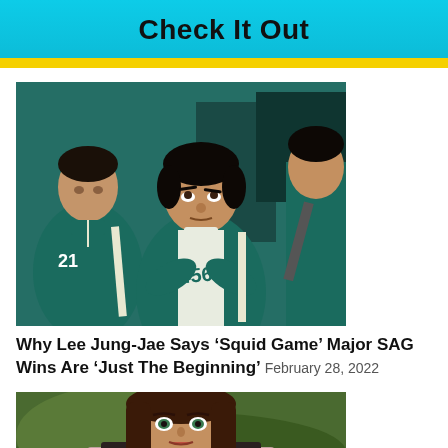Check It Out
[Figure (photo): Three people in teal/green tracksuits from Squid Game, looking upward. The person on the left wears number 21.]
Why Lee Jung-Jae Says ‘Squid Game’ Major SAG Wins Are ‘Just The Beginning’ February 28, 2022
[Figure (photo): A woman with brown hair and green eyes, appearing to be photographed outdoors with green background.]